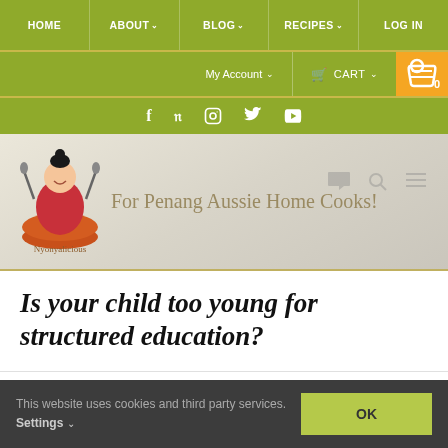HOME | ABOUT | BLOG | RECIPES | LOG IN
My Account | CART | 0
Social icons: Facebook, Pinterest, Instagram, Twitter, YouTube
[Figure (logo): Nyonyalicious logo with cartoon chef figure holding spoons, tagline 'For Penang Aussie Home Cooks!']
Is your child too young for structured education?
This website uses cookies and third party services. Settings
OK